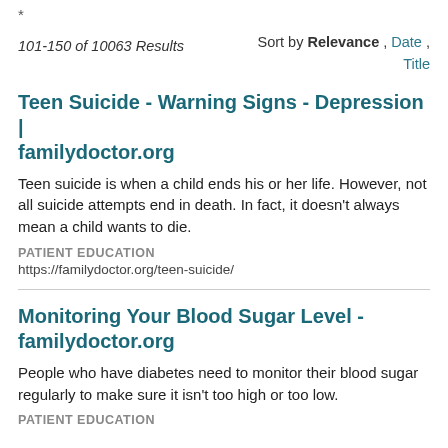*
101-150 of 10063 Results   Sort by Relevance , Date , Title
Teen Suicide - Warning Signs - Depression | familydoctor.org
Teen suicide is when a child ends his or her life. However, not all suicide attempts end in death. In fact, it doesn't always mean a child wants to die.
PATIENT EDUCATION
https://familydoctor.org/teen-suicide/
Monitoring Your Blood Sugar Level - familydoctor.org
People who have diabetes need to monitor their blood sugar regularly to make sure it isn't too high or too low.
PATIENT EDUCATION